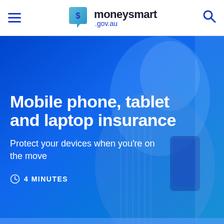moneysmart .gov.au
[Figure (photo): Woman smiling and looking at smartphone, photo tinted with blue overlay]
Mobile phone, tablet and laptop insurance
Protect your devices when you're on the move
4 MINUTES